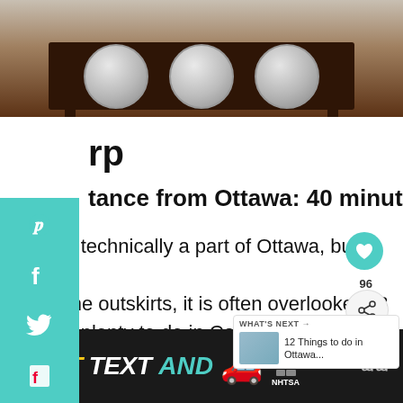[Figure (photo): Photo of a wooden tray holding three glass bowls, on a dark wooden surface]
rp
tance from Ottawa: 40 minutes
rp is technically a part of Ottawa, but since on the outskirts, it is often overlooked. B re is plenty to do in Carp that will fill a d t's worth making the trek out, ev you're from the east side of the city. Carp is
[Figure (screenshot): WHAT'S NEXT panel showing thumbnail and text: 12 Things to do in Ottawa...]
[Figure (photo): Ad banner: DON'T TEXT AND [car emoji] with NHTSA logo]